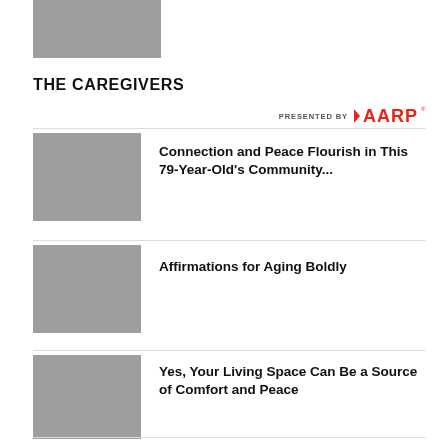[Figure (photo): Partial photo of person at desk, top-left corner]
THE CAREGIVERS
[Figure (logo): PRESENTED BY AARP logo in red]
[Figure (photo): Gray placeholder thumbnail image]
Connection and Peace Flourish in This 79-Year-Old's Community...
[Figure (photo): Gray placeholder thumbnail image]
Affirmations for Aging Boldly
[Figure (photo): Gray placeholder thumbnail image]
Yes, Your Living Space Can Be a Source of Comfort and Peace
[Figure (photo): Gray placeholder thumbnail image]
Uplifting Words if You're Ever in a Funk